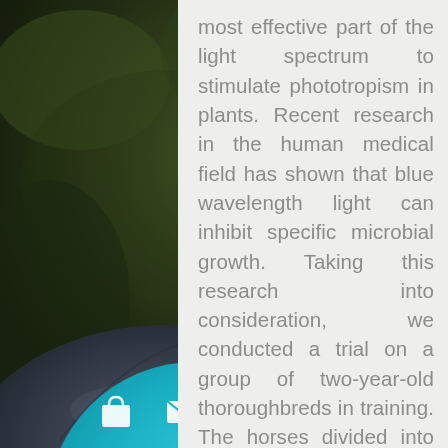[Figure (photo): Blurred dark green background with a dark blue/grey helmet or round object in lower foreground, and a teal circular overlay at the bottom with shopping bag, envelope, and play button icons.]
most effective part of the light spectrum to stimulate phototropism in plants. Recent research in the human medical field has shown that blue wavelength light can inhibit specific microbial growth. Taking this research into consideration, we conducted a trial on a group of two-year-old thoroughbreds in training. The horses divided into two groups from the same yard. [one group] housed under a